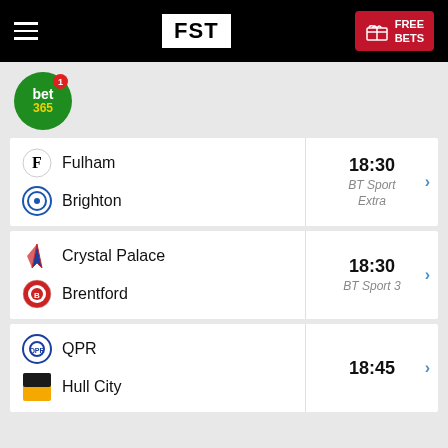FST FREE BETS
[Figure (logo): bet365 logo - green circle with bet365 text and notification badge]
Fulham vs Brighton - 18:30 BT Sport Extra
Crystal Palace vs Brentford - 18:30 BT Sport 3
QPR vs Hull City - 18:45